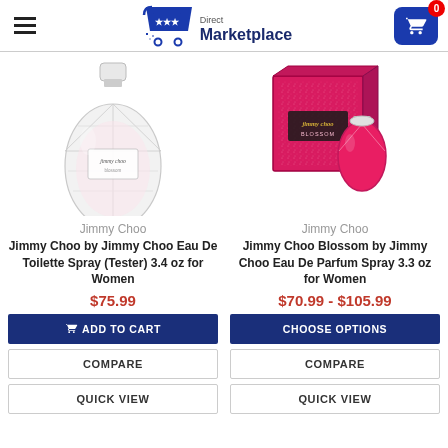Direct Marketplace — navigation header with menu icon, logo, and cart (0 items)
[Figure (photo): Jimmy Choo Eau De Toilette Spray (Tester) 3.4 oz perfume bottle — clear faceted glass bottle with pink label]
Jimmy Choo
Jimmy Choo by Jimmy Choo Eau De Toilette Spray (Tester) 3.4 oz for Women
$75.99
[Figure (photo): Jimmy Choo Blossom Eau De Parfum Spray 3.3 oz — pink glitter box and small pink perfume bottle]
Jimmy Choo
Jimmy Choo Blossom by Jimmy Choo Eau De Parfum Spray 3.3 oz for Women
$70.99 - $105.99